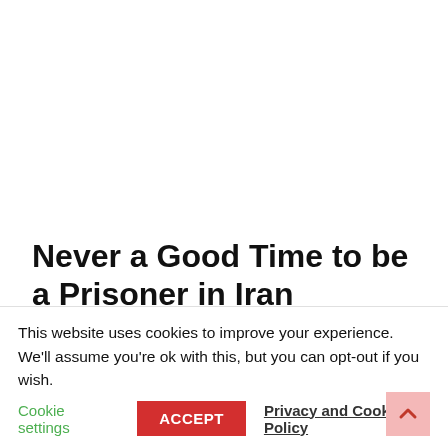Never a Good Time to be a Prisoner in Iran
Kalame reported that the Iranian guard and
This website uses cookies to improve your experience. We'll assume you're ok with this, but you can opt-out if you wish.
Cookie settings   ACCEPT   Privacy and Cookie Policy